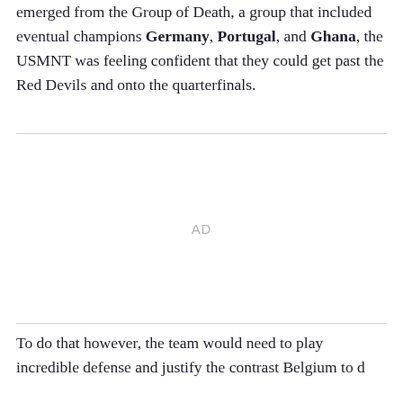emerged from the Group of Death, a group that included eventual champions Germany, Portugal, and Ghana, the USMNT was feeling confident that they could get past the Red Devils and onto the quarterfinals.
[Figure (other): Advertisement placeholder area with 'AD' label centered, bordered top and bottom by light gray horizontal rules]
To do that however, the team would need to play incredible defense and justify the contrast Belgians to d...